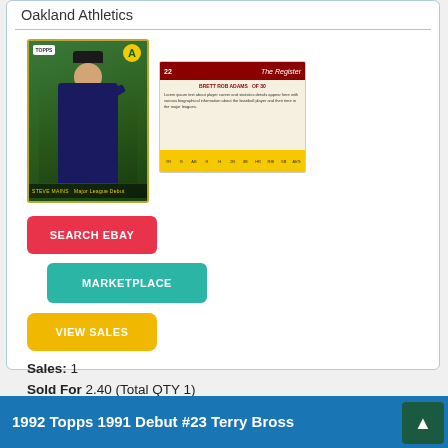Oakland Athletics
[Figure (photo): Front of a 1992 Topps baseball card showing an Oakland Athletics player in green and gold uniform with a bat, with the Topps logo and A's logo visible]
[Figure (photo): Back of a 1992 Topps baseball card showing number 22, The Register section with stats and text in a yellow stats bar at the bottom]
SEARCH EBAY
MARKETPLACE
VIEW SALES
Sales: 1
Sold For 2.40 (Total QTY 1)
1992 Topps 1991 Debut #23 Terry Bross